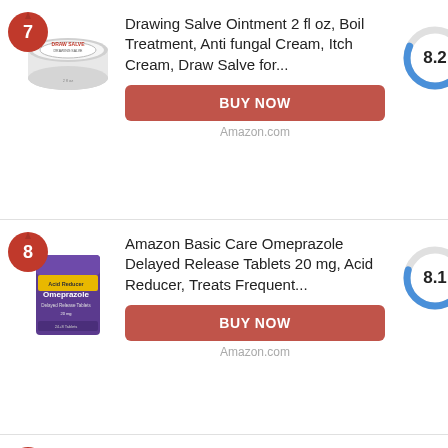[Figure (photo): Product #7: Drawing Salve Ointment tin with badge showing 7]
Drawing Salve Ointment 2 fl oz, Boil Treatment, Anti fungal Cream, Itch Cream, Draw Salve for...
[Figure (donut-chart): Score 8.2]
BUY NOW
Amazon.com
[Figure (photo): Product #8: Amazon Basic Care Omeprazole box with badge showing 8]
Amazon Basic Care Omeprazole Delayed Release Tablets 20 mg, Acid Reducer, Treats Frequent...
[Figure (donut-chart): Score 8.1]
BUY NOW
Amazon.com
[Figure (photo): Product #9: NOW Solutions partial view with badge showing 9]
NOW Solutions, Sweet